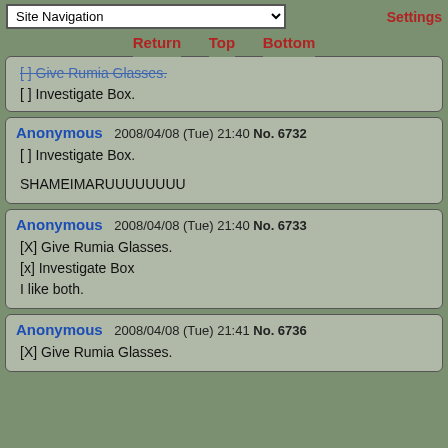Site Navigation | Settings
Return  Top  Bottom
[ ] Give Rumia Glasses.
[ ] Investigate Box.
Anonymous  2008/04/08 (Tue) 21:40  No. 6732
[ ] Investigate Box.
SHAMEIMARUUUUUUUU
Anonymous  2008/04/08 (Tue) 21:40  No. 6733
[X] Give Rumia Glasses.
[x] Investigate Box
I like both.
Anonymous  2008/04/08 (Tue) 21:41  No. 6736
[X] Give Rumia Glasses.